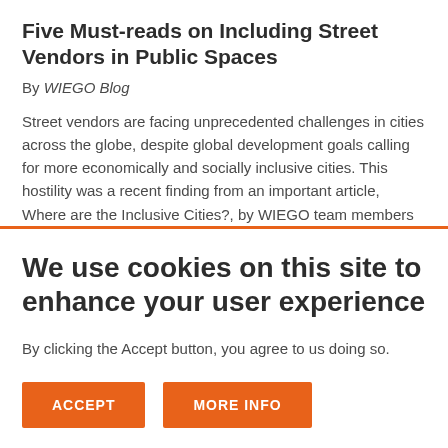Five Must-reads on Including Street Vendors in Public Spaces
By WIEGO Blog
Street vendors are facing unprecedented challenges in cities across the globe, despite global development goals calling for more economically and socially inclusive cities. This hostility was a recent finding from an important article, Where are the Inclusive Cities?, by WIEGO team members
We use cookies on this site to enhance your user experience
By clicking the Accept button, you agree to us doing so.
ACCEPT
MORE INFO